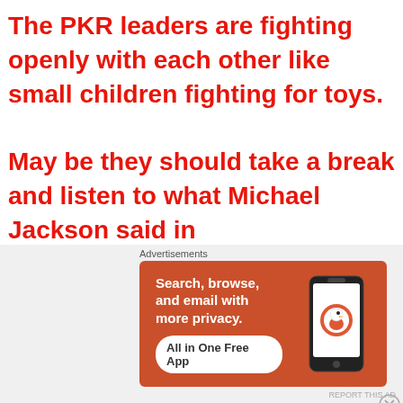The PKR leaders are fighting openly with each other like small children fighting for toys. May be they should take a break and listen to what Michael Jackson said in
[Figure (screenshot): DuckDuckGo advertisement banner with orange background showing 'Search, browse, and email with more privacy. All in One Free App' text and a phone graphic with DuckDuckGo logo]